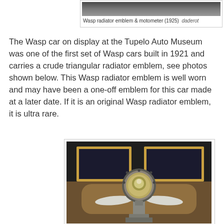[Figure (photo): Wasp radiator emblem and motometer, 1925 — top of page, partially shown]
Wasp radiator emblem & motometer (1925)  daderot
The Wasp car on display at the Tupelo Auto Museum was one of the first set of Wasp cars built in 1921 and carries a crude triangular radiator emblem, see photos shown below. This Wasp radiator emblem is well worn and may have been a one-off emblem for this car made at a later date. If it is an original Wasp radiator emblem, it is ultra rare.
[Figure (photo): Close-up photo of a Wasp motometer (radiator cap ornament) showing a circular gauge mounted on a decorative stem with wing-like protrusions, set against a dark museum background with golden/brass framing visible.]